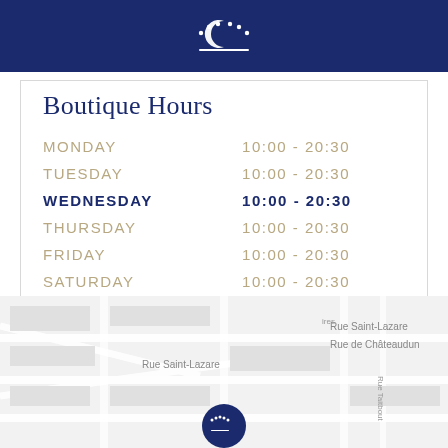Logo header bar
Boutique Hours
| Day | Hours |
| --- | --- |
| MONDAY | 10:00 - 20:30 |
| TUESDAY | 10:00 - 20:30 |
| WEDNESDAY | 10:00 - 20:30 |
| THURSDAY | 10:00 - 20:30 |
| FRIDAY | 10:00 - 20:30 |
| SATURDAY | 10:00 - 20:30 |
| SUNDAY | 11:00 - 20:00 |
[Figure (map): Street map showing location near Rue Saint-Lazare and Rue de Châteaudun, Paris, with a boutique marker pin visible at bottom center.]